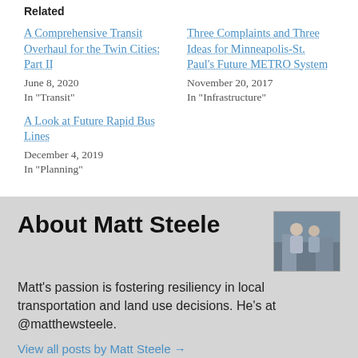Related
A Comprehensive Transit Overhaul for the Twin Cities: Part II
June 8, 2020
In "Transit"
Three Complaints and Three Ideas for Minneapolis-St. Paul's Future METRO System
November 20, 2017
In "Infrastructure"
A Look at Future Rapid Bus Lines
December 4, 2019
In "Planning"
About Matt Steele
[Figure (photo): Photo of Matt Steele, a man standing with arms crossed]
Matt's passion is fostering resiliency in local transportation and land use decisions. He's at @matthewsteele.
View all posts by Matt Steele →